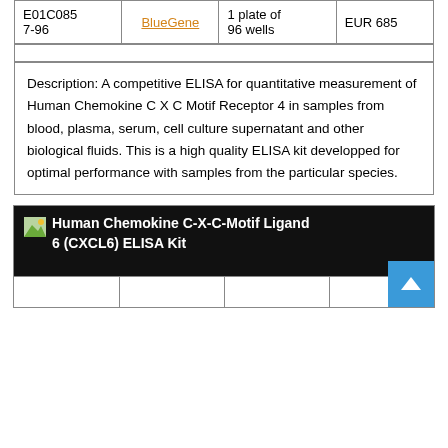| E01C0857-96 | BlueGene | 1 plate of 96 wells | EUR 685 |
Description: A competitive ELISA for quantitative measurement of Human Chemokine C X C Motif Receptor 4 in samples from blood, plasma, serum, cell culture supernatant and other biological fluids. This is a high quality ELISA kit developped for optimal performance with samples from the particular species.
Human Chemokine C-X-C-Motif Ligand 6 (CXCL6) ELISA Kit
|  |  |  |  |